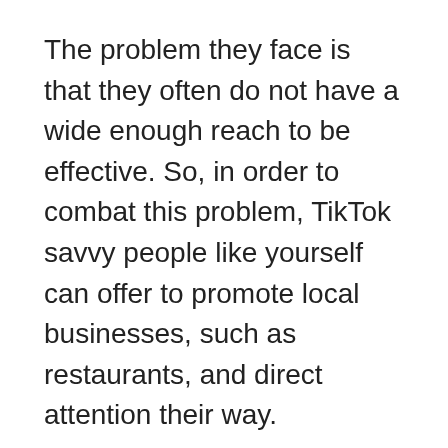The problem they face is that they often do not have a wide enough reach to be effective. So, in order to combat this problem, TikTok savvy people like yourself can offer to promote local businesses, such as restaurants, and direct attention their way.
Here's how it works. Tiktok uses geolocation to promote local TikTok accounts to users. If you have a niche account, promoting local business to your followers gives that business a boost in visibility to people in their area. If you have a successful account, you can charge businesses to provide them with